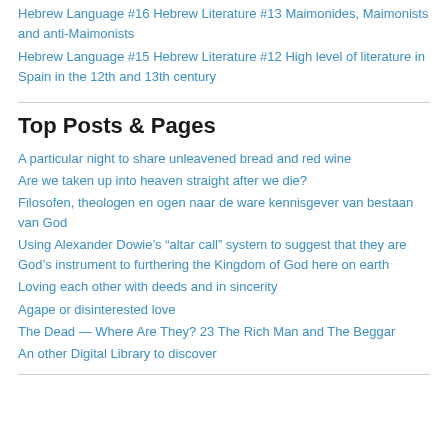Hebrew Language #16 Hebrew Literature #13 Maimonides, Maimonists and anti-Maimonists
Hebrew Language #15 Hebrew Literature #12 High level of literature in Spain in the 12th and 13th century
Top Posts & Pages
A particular night to share unleavened bread and red wine
Are we taken up into heaven straight after we die?
Filosofen, theologen en ogen naar de ware kennisgever van bestaan van God
Using Alexander Dowie’s “altar call” system to suggest that they are God’s instrument to furthering the Kingdom of God here on earth
Loving each other with deeds and in sincerity
Agape or disinterested love
The Dead — Where Are They? 23 The Rich Man and The Beggar
An other Digital Library to discover